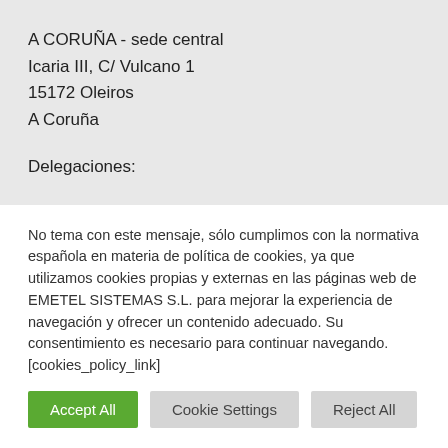A CORUÑA - sede central
Icaria III, C/ Vulcano 1
15172 Oleiros
A Coruña
Delegaciones:
No tema con este mensaje, sólo cumplimos con la normativa española en materia de política de cookies, ya que utilizamos cookies propias y externas en las páginas web de EMETEL SISTEMAS S.L. para mejorar la experiencia de navegación y ofrecer un contenido adecuado. Su consentimiento es necesario para continuar navegando. [cookies_policy_link]
Accept All | Cookie Settings | Reject All